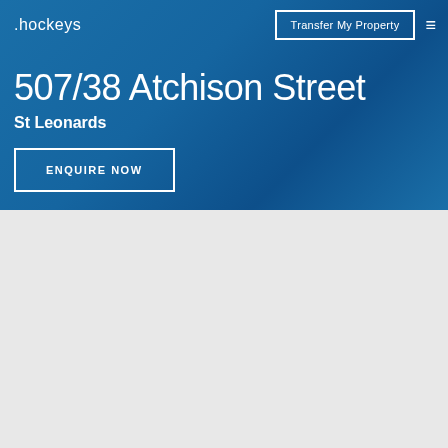.hockeys
Transfer My Property
507/38 Atchison Street
St Leonards
ENQUIRE NOW